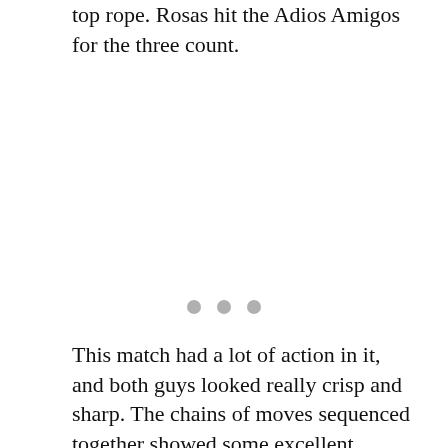top rope. Rosas hit the Adios Amigos for the three count.
[Figure (other): Three gray dots, indicating a section break or continuation marker]
This match had a lot of action in it, and both guys looked really crisp and sharp. The chains of moves sequenced together showed some excellent